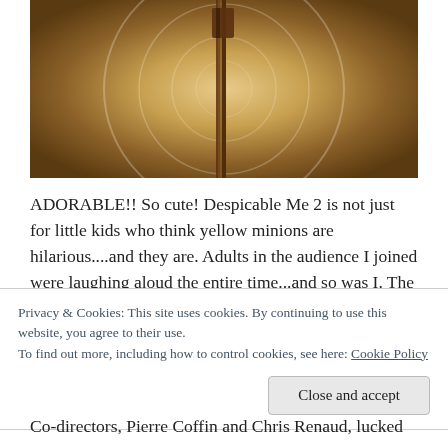[Figure (photo): A sepia-toned/golden image showing concentric circles with a vertical pole or post in the center, resembling a film reel or target motif with warm brown tones.]
ADORABLE!! So cute! Despicable Me 2 is not just for little kids who think yellow minions are hilarious....and they are. Adults in the audience I joined were laughing aloud the entire time...and so was I. The humor is often clever and always goofy. Something for all ages.
Universal Pictures and Illumination Entertainment
Privacy & Cookies: This site uses cookies. By continuing to use this website, you agree to their use.
To find out more, including how to control cookies, see here: Cookie Policy
Co-directors, Pierre Coffin and Chris Renaud, lucked